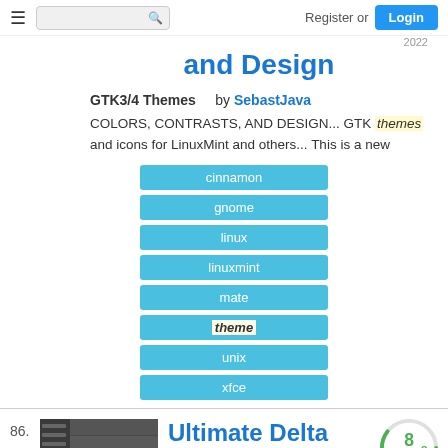Register or Login
and Design
GTK3/4 Themes   by SebastJava
COLORS, CONTRASTS, AND DESIGN... GTK themes and icons for LinuxMint and others... This is a new
cinnamon
gnome
linux
linuxmint
mate
theme
unix
xfce
86.
Ultimate Delta
GTK3/4 Themes   by bolimage
Easy On The Eyes Material design
8.8  Apr 05 2022